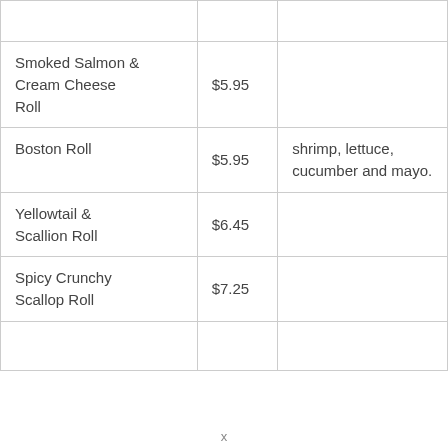|  |  |  |
| --- | --- | --- |
| Smoked Salmon & Cream Cheese Roll | $5.95 |  |
| Boston Roll | $5.95 | shrimp, lettuce, cucumber and mayo. |
| Yellowtail & Scallion Roll | $6.45 |  |
| Spicy Crunchy Scallop Roll | $7.25 |  |
|  |  |  |